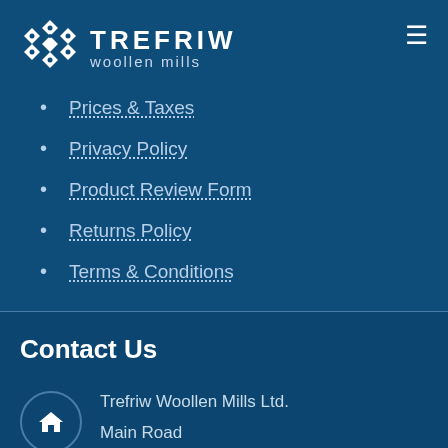[Figure (logo): Trefriw Woollen Mills logo with diamond/cross pattern icon and text]
Prices & Taxes
Privacy Policy
Product Review Form
Returns Policy
Terms & Conditions
Contact Us
Trefriw Woollen Mills Ltd.
Main Road
Trefriw
Conwy Valley